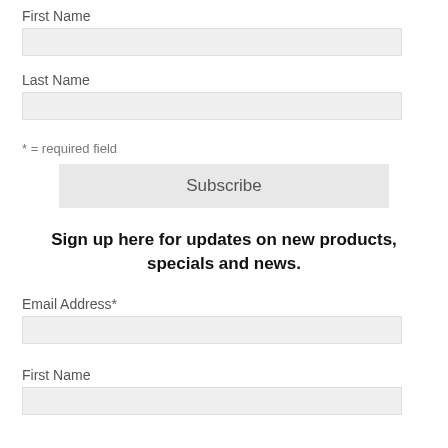First Name
Last Name
* = required field
Subscribe
Sign up here for updates on new products, specials and news.
Email Address*
First Name